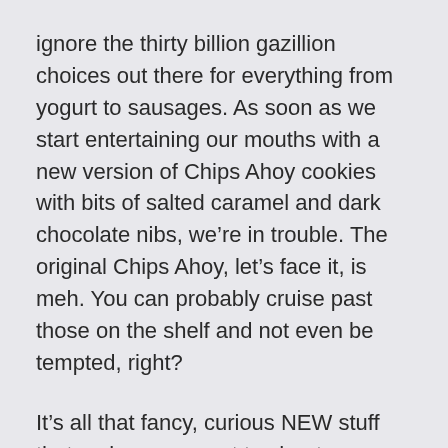ignore the thirty billion gazillion choices out there for everything from yogurt to sausages. As soon as we start entertaining our mouths with a new version of Chips Ahoy cookies with bits of salted caramel and dark chocolate nibs, we're in trouble. The original Chips Ahoy, let's face it, is meh. You can probably cruise past those on the shelf and not even be tempted, right?
It's all that fancy, curious NEW stuff that makes you want to cheat on your healthy food plan like a sleazy salesman eyeing the local Lolitas in a Hilton lobby bar.